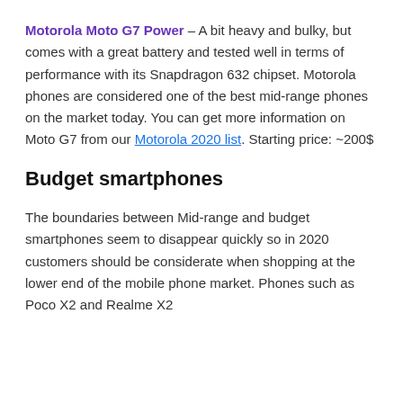Motorola Moto G7 Power – A bit heavy and bulky, but comes with a great battery and tested well in terms of performance with its Snapdragon 632 chipset. Motorola phones are considered one of the best mid-range phones on the market today. You can get more information on Moto G7 from our Motorola 2020 list. Starting price: ~200$
Budget smartphones
The boundaries between Mid-range and budget smartphones seem to disappear quickly so in 2020 customers should be considerate when shopping at the lower end of the mobile phone market. Phones such as Poco X2 and Realme X2